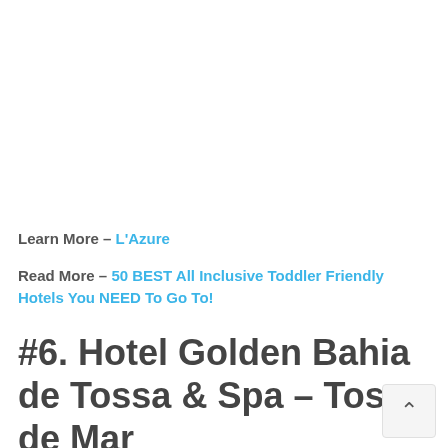Learn More – L'Azure
Read More – 50 BEST All Inclusive Toddler Friendly Hotels You NEED To Go To!
#6. Hotel Golden Bahia de Tossa & Spa – Tossa de Mar